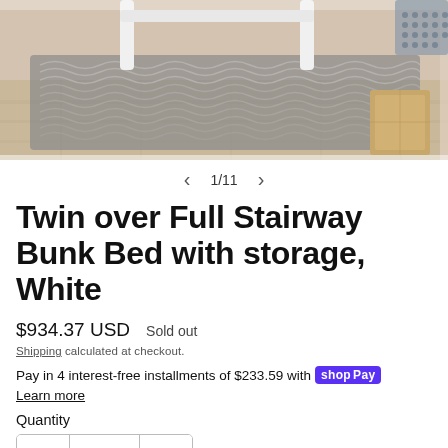[Figure (photo): Product photo showing a bunk bed in a room with wood-style flooring, a patterned area rug, white furniture legs visible, and a wooden storage cube. Image is cropped at top showing partial room scene. Navigation shows 1/11.]
1/11
Twin over Full Stairway Bunk Bed with storage, White
$934.37 USD   Sold out
Shipping calculated at checkout.
Pay in 4 interest-free installments of $233.59 with Shop Pay   Learn more
Quantity
1